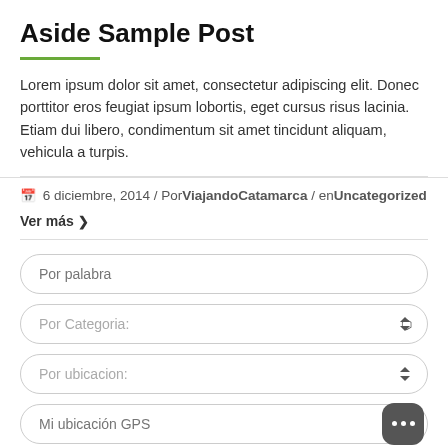Aside Sample Post
Lorem ipsum dolor sit amet, consectetur adipiscing elit. Donec porttitor eros feugiat ipsum lobortis, eget cursus risus lacinia. Etiam dui libero, condimentum sit amet tincidunt aliquam, vehicula a turpis.
6 diciembre, 2014 / Por ViajandoCatamarca / en Uncategorized
Ver más ❯
Por palabra
Por Categoria:
Por ubicacion:
Mi ubicación GPS